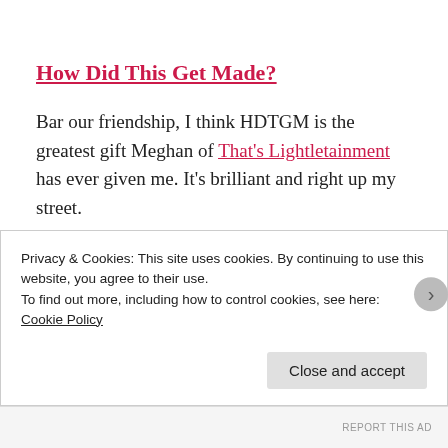How Did This Get Made?
Bar our friendship, I think HDTGM is the greatest gift Meghan of That's Lightletainment has ever given me. It's brilliant and right up my street.
Paul Scheer, June Diane Raphael and Jason Mantzoukas (all actors themselves) love bad movies and talk about them passionately with special guests on the regs. I
Privacy & Cookies: This site uses cookies. By continuing to use this website, you agree to their use.
To find out more, including how to control cookies, see here:
Cookie Policy
Close and accept
REPORT THIS AD